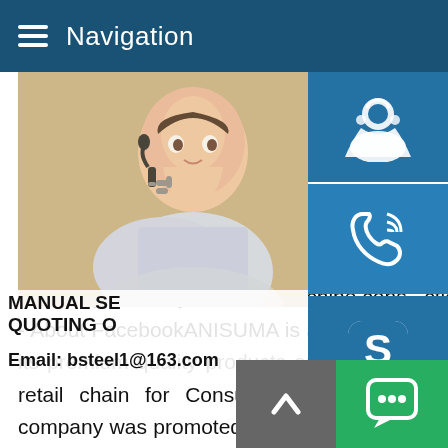Navigation
Bystronic has its own sales and service cc approximately 30 countries across three c being represented by agents in countless 1994,Bystronic is part of Conzzeta ,a Swis company primarily active in machine cons machine toolsBystronic has its own sales a approximately 30 countries across three c being represented by agents in countless 1994,Bystronic is part of Conzzeta ,a Swis company primarily active in machine cons...ction industri Uganda - About FacebookANISUMA is a highly credible name in Uganda for its premium quality products and Services.Uganda s first specialist retail chain for Consumer durables/ Elect ronics / IT/OA.The company was promoted in the year 2001 by its par group i.e.Jackys Group Since 1970,founded by Late Shri
[Figure (photo): Woman with headset, customer service representative]
MANUAL SE
QUOTING O
Email: bsteel1@163.com